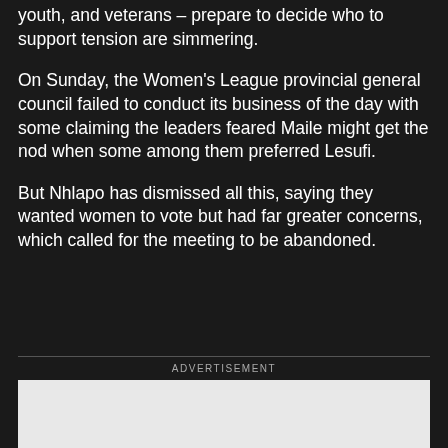youth, and veterans – prepare to decide who to support tension are simmering.
On Sunday, the Women's League provincial general council failed to conduct its business of the day with some claiming the leaders feared Maile might get the nod when some among them preferred Lesufi.
But Nhlapo has dismissed all this, saying they wanted women to vote but had far greater concerns, which called for the meeting to be abandoned.
ADVERTISEMENT
[Figure (other): Advertisement placeholder box (light gray rectangle)]